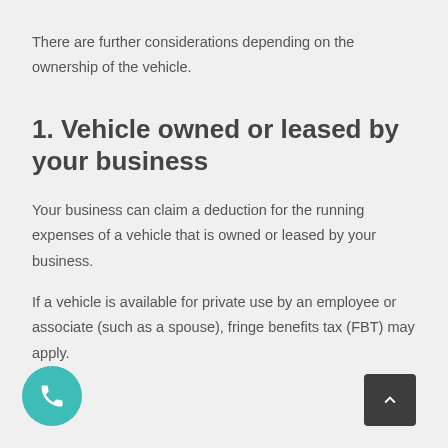There are further considerations depending on the ownership of the vehicle.
1. Vehicle owned or leased by your business
Your business can claim a deduction for the running expenses of a vehicle that is owned or leased by your business.
If a vehicle is available for private use by an employee or associate (such as a spouse), fringe benefits tax (FBT) may apply.